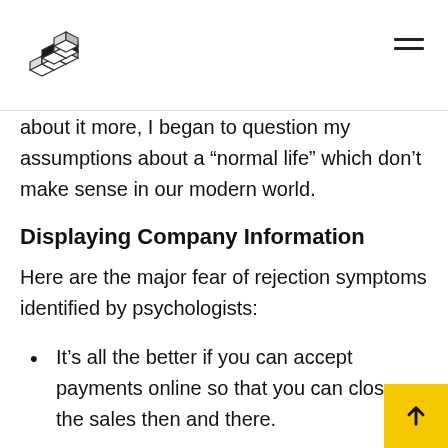[Figure (logo): Geometric cube/lattice logo made of outlined squares in isometric style]
about it more, I began to question my assumptions about a “normal life” which don’t make sense in our modern world.
Displaying Company Information
Here are the major fear of rejection symptoms identified by psychologists:
It’s all the better if you can accept payments online so that you can close the sales then and there.